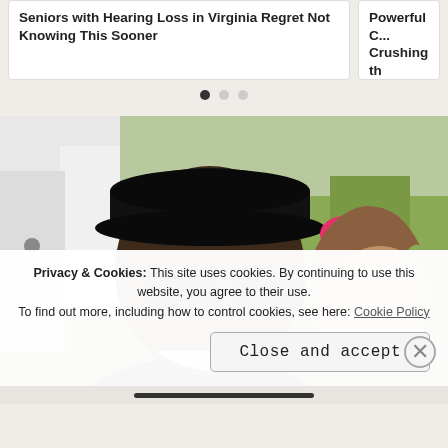Seniors with Hearing Loss in Virginia Regret Not Knowing This Sooner
Powerful Crushing th
[Figure (photo): A man wearing a black cap and sunglasses smiling next to a young girl with a pink bow in her hair, outdoors near a vehicle and green lawn.]
Privacy & Cookies: This site uses cookies. By continuing to use this website, you agree to their use. To find out more, including how to control cookies, see here: Cookie Policy
Close and accept